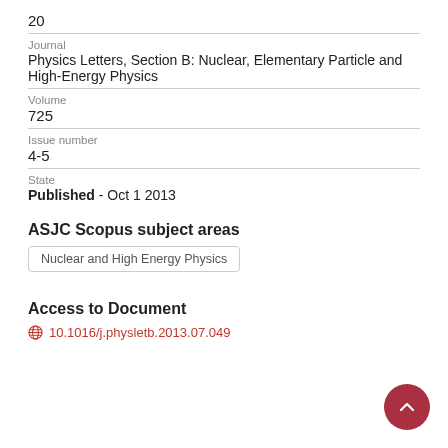20
Journal
Physics Letters, Section B: Nuclear, Elementary Particle and High-Energy Physics
Volume
725
Issue number
4-5
State
Published - Oct 1 2013
ASJC Scopus subject areas
Nuclear and High Energy Physics
Access to Document
10.1016/j.physletb.2013.07.049